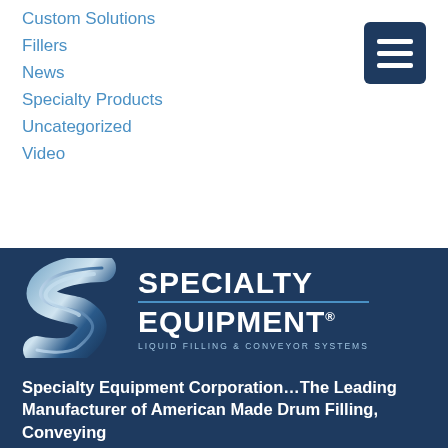Custom Solutions
Fillers
News
Specialty Products
Uncategorized
Video
[Figure (logo): Specialty Equipment logo with stylized S shape and text reading SPECIALTY EQUIPMENT with tagline LIQUID FILLING & CONVEYOR SYSTEMS on dark navy background]
Specialty Equipment Corporation…The Leading Manufacturer of American Made Drum Filling, Conveying